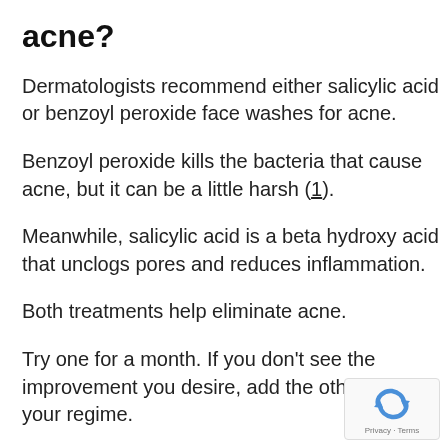acne?
Dermatologists recommend either salicylic acid or benzoyl peroxide face washes for acne.
Benzoyl peroxide kills the bacteria that cause acne, but it can be a little harsh (1).
Meanwhile, salicylic acid is a beta hydroxy acid that unclogs pores and reduces inflammation.
Both treatments help eliminate acne.
Try one for a month. If you don’t see the improvement you desire, add the other prod your regime.
[Figure (logo): Google reCAPTCHA badge with recycling-arrow icon and Privacy - Terms text]